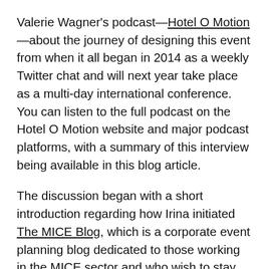Valerie Wagner's podcast—Hotel O Motion—about the journey of designing this event from when it all began in 2014 as a weekly Twitter chat and will next year take place as a multi-day international conference. You can listen to the full podcast on the Hotel O Motion website and major podcast platforms, with a summary of this interview being available in this blog article.
The discussion began with a short introduction regarding how Irina initiated The MICE Blog, which is a corporate event planning blog dedicated to those working in the MICE sector and who wish to stay on top of industry news, learn about new destinations, venues and the latest trends. Irina stated, 'I began the blog in 2011 as a hobby while doing an internship at an event agency in Munich. Not long after that, I moved to London to undertake a 3.5 year BA in international events management. Maintaining the blog alongside the studies